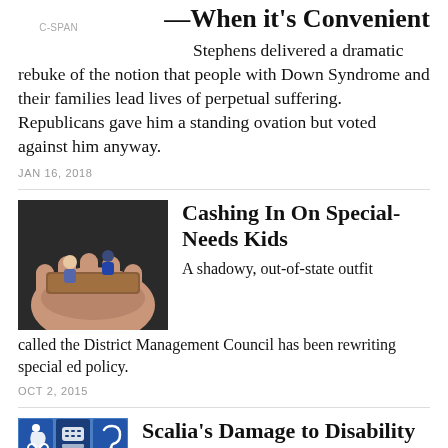—When it's Convenient
[Figure (photo): C-SPAN logo/label in gray text]
Stephens delivered a dramatic rebuke of the notion that people with Down Syndrome and their families lead lives of perpetual suffering. Republicans gave him a standing ovation but voted against him anyway.
JAN 16, 2018
[Figure (illustration): Illustration of a large hand holding two small human figures on a brown platform, dark background]
Cashing In On Special-Needs Kids
A shadowy, out-of-state outfit called the District Management Council has been rewriting special ed policy.
OCT 2, 2015
[Figure (illustration): Grid of 6 disability accessibility icons in blue squares]
Scalia's Damage to Disability Rights